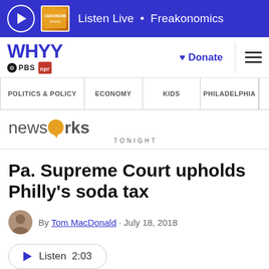Listen Live • Freakonomics
[Figure (logo): WHYY PBS NPR logo with Donate button and hamburger menu]
POLITICS & POLICY | ECONOMY | KIDS | PHILADELPHIA
[Figure (logo): NewsWorks Tonight logo]
Pa. Supreme Court upholds Philly's soda tax
By Tom MacDonald · July 18, 2018
Listen  2:03